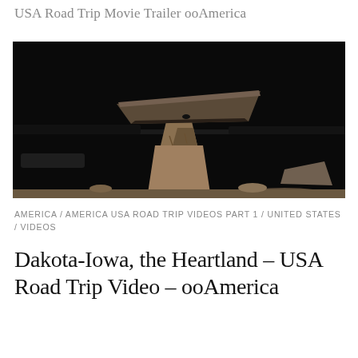USA Road Trip Movie Trailer ooAmerica
[Figure (photo): Black and white photograph of a balanced rock formation — a large flat stone perched on top of a narrow rock pedestal, against a dark sky, with scrubby landscape in the background.]
AMERICA / AMERICA USA ROAD TRIP VIDEOS PART 1 / UNITED STATES / VIDEOS
Dakota-Iowa, the Heartland – USA Road Trip Video – ooAmerica